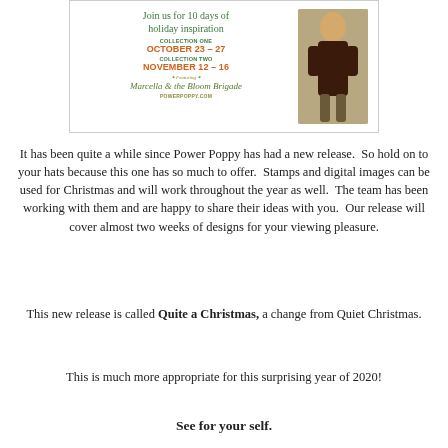[Figure (infographic): Power Poppy holiday release promotional banner showing 'Join us for 10 days of holiday inspiration', Collection One October 23-27, Collection Two November 12-16, featuring Marcella & the Bloom Brigade, powerpoppy.com, with image of woman in dark outfit]
It has been quite a while since Power Poppy has had a new release.  So hold on to your hats because this one has so much to offer.  Stamps and digital images can be used for Christmas and will work throughout the year as well.  The team has been working with them and are happy to share their ideas with you.  Our release will cover almost two weeks of designs for your viewing pleasure.
This new release is called Quite a Christmas, a change from Quiet Christmas.
This is much more appropriate for this surprising year of 2020!
See for your self.